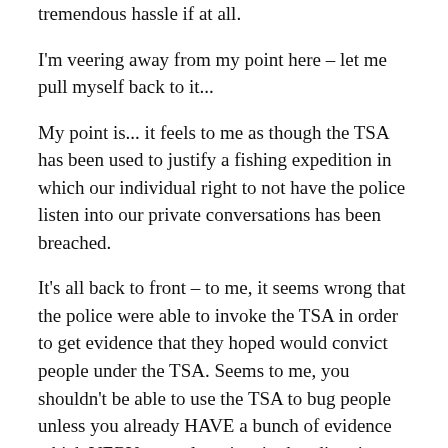tremendous hassle if at all.
I'm veering away from my point here – let me pull myself back to it...
My point is... it feels to me as though the TSA has been used to justify a fishing expedition in which our individual right to not have the police listen into our private conversations has been breached.
It's all back to front – to me, it seems wrong that the police were able to invoke the TSA in order to get evidence that they hoped would convict people under the TSA. Seems to me, you shouldn't be able to use the TSA to bug people unless you already HAVE a bunch of evidence which VERY strongly points in that direction anyway.
Otherwise you're using a law that may not actually apply to your suspects in order to gather evidence in a way you normally wouldn't be allowed to do in New Zealand.
And that, to me, is wrong, wrong, wrong.